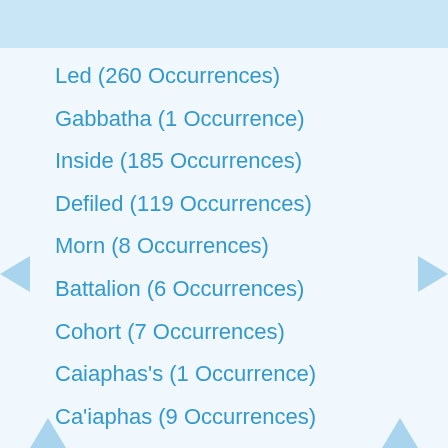Led (260 Occurrences)
Gabbatha (1 Occurrence)
Inside (185 Occurrences)
Defiled (119 Occurrences)
Morn (8 Occurrences)
Battalion (6 Occurrences)
Cohort (7 Occurrences)
Caiaphas's (1 Occurrence)
Ca'iaphas (9 Occurrences)
Ceremonial (11 Occurrences)